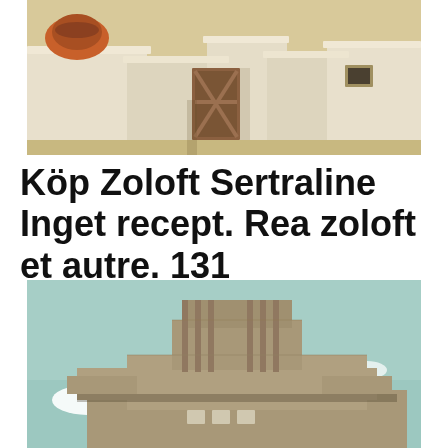[Figure (photo): Photo of white Mediterranean/Santorini-style architecture with terracotta pot and wooden gate detail, taken in warm sunlight]
Köp Zoloft Sertraline Inget recept. Rea zoloft et autre. 131
[Figure (photo): Photo of a large brutalist concrete building structure against a light teal/blue sky with clouds]